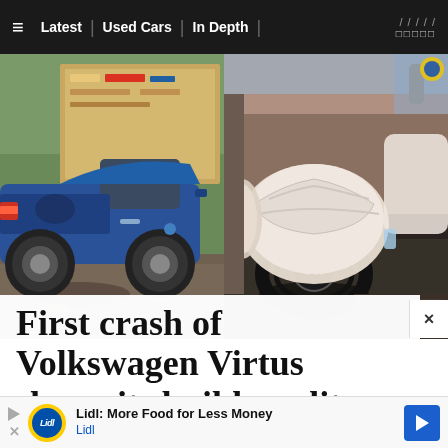≡  Latest | Used Cars | In Depth | /////  □□□□□
[Figure (photo): Two-panel photo: left shows a blue Volkswagen Virtus sedan crash scene from the rear exterior, damaged against a wall; right shows the car interior with deployed airbags on the steering wheel.]
First crash of Volkswagen Virtus shows its build quality
Lidl: More Food for Less Money Lidl